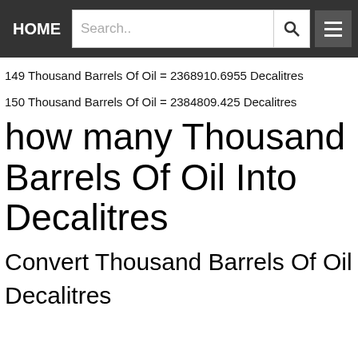HOME | Search.. | [search button] | [menu button]
149 Thousand Barrels Of Oil = 2368910.6955 Decalitres
150 Thousand Barrels Of Oil = 2384809.425 Decalitres
how many Thousand Barrels Of Oil Into Decalitres
Convert Thousand Barrels Of Oil
Decalitres